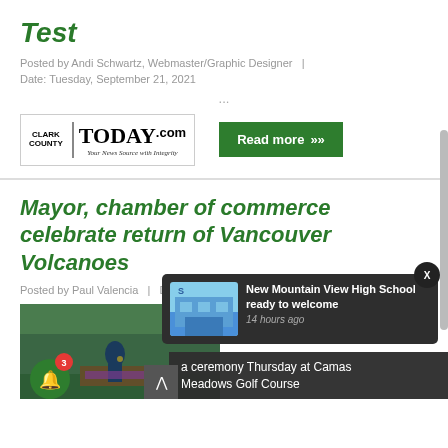Test
Posted by Andi Schwartz, Webmaster/Graphic Designer  |
Date: Tuesday, September 21, 2021
...
[Figure (logo): Clark County Today .com - Your News Source with Integrity logo]
Read more >>
Mayor, chamber of commerce celebrate return of Vancouver Volcanoes
Posted by Paul Valencia  |  Date: Friday, June 25, 2021
[Figure (photo): Photo of event with person at podium with Volcanoes branded table]
[Figure (photo): Notification popup showing New Mountain View High School building image]
New Mountain View High School ready to welcome
14 hours ago
a ceremony Thursday at Camas Meadows Golf Course